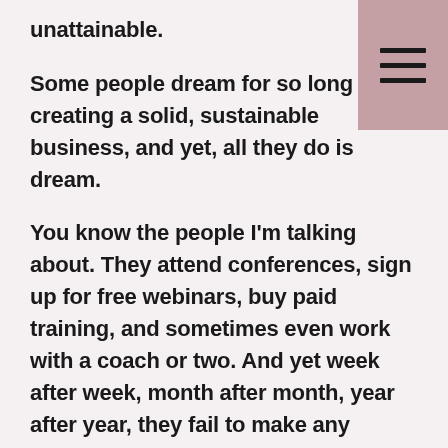unattainable.
Some people dream for so long about creating a solid, sustainable business, and yet, all they do is dream.
You know the people I'm talking about. They attend conferences, sign up for free webinars, buy paid training, and sometimes even work with a coach or two. And yet week after week, month after month, year after year, they fail to make any progress toward their dreams.